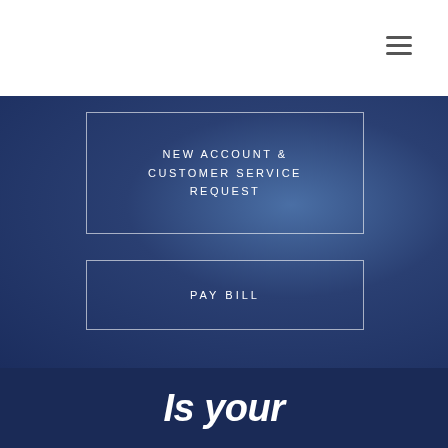[Figure (logo): Minnesota Occupational Health logo — circle outline with figure and text]
NEW ACCOUNT & CUSTOMER SERVICE REQUEST
PAY BILL
Is your